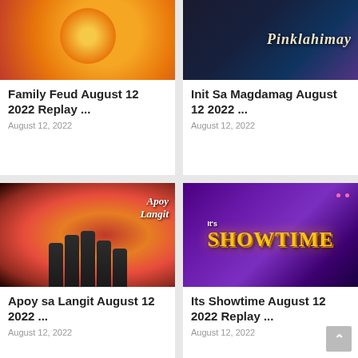[Figure (screenshot): Card 1: Family Feud show thumbnail with orange/red radial gradient and circular logo]
Pinoy Teleserye
Family Feud August 12 2022 Replay ...
August 12, 2022
[Figure (screenshot): Card 2: Init Sa Magdamag show thumbnail with dark blue/purple gradient and italic title text]
Pinoy Teleserye
Init Sa Magdamag August 12 2022 ...
August 12, 2022
[Figure (photo): Card 3: Apoy sa Langit show thumbnail with orange fire background and cast of 5 silhouetted figures]
Pinoy Teleserye
Apoy sa Langit August 12 2022 ...
August 12, 2022
[Figure (screenshot): Card 4: Its Showtime logo on purple background with gold metallic text and colorful sparkles]
Pinoy Teleserye
Its Showtime August 12 2022 Replay ...
August 12, 2022